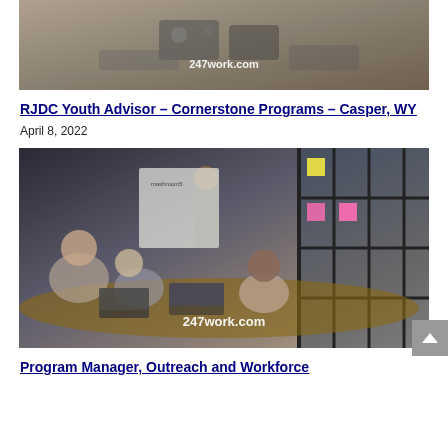[Figure (photo): Office/work scene with hands near power strip and laptops, watermark 247work.com]
RJDC Youth Advisor – Cornerstone Programs – Casper, WY
April 8, 2022
[Figure (photo): Meeting room scene with presenter at whiteboard and people around table with laptops, watermark 247work.com]
Program Manager, Outreach and Workforce